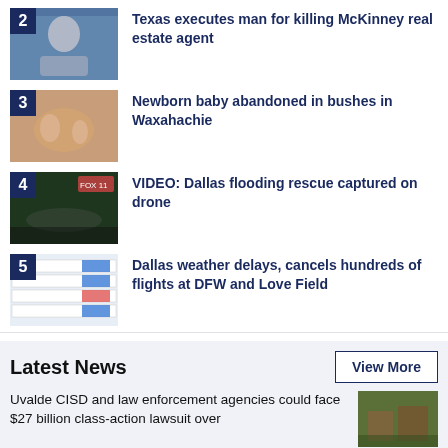2 Texas executes man for killing McKinney real estate agent
3 Newborn baby abandoned in bushes in Waxahachie
4 VIDEO: Dallas flooding rescue captured on drone
5 Dallas weather delays, cancels hundreds of flights at DFW and Love Field
Latest News
View More
Uvalde CISD and law enforcement agencies could face $27 billion class-action lawsuit over